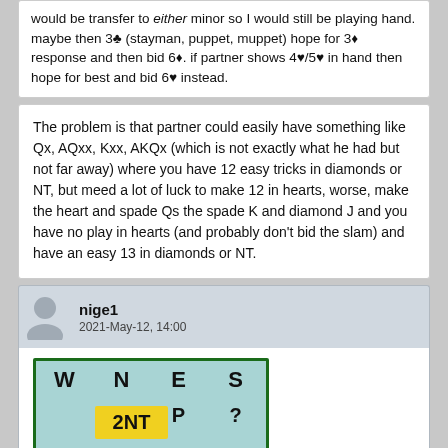would be transfer to either minor so I would still be playing hand. maybe then 3♣ (stayman, puppet, muppet) hope for 3♦ response and then bid 6♦. if partner shows 4♥/5♥ in hand then hope for best and bid 6♥ instead.
The problem is that partner could easily have something like Qx, AQxx, Kxx, AKQx (which is not exactly what he had but not far away) where you have 12 easy tricks in diamonds or NT, but meed a lot of luck to make 12 in hearts, worse, make the heart and spade Qs the spade K and diamond J and you have no play in hearts (and probably don't bid the slam) and have an easy 13 in diamonds or NT.
nige1
2021-May-12, 14:00
[Figure (other): Bridge bidding table with columns W, N, E, S. Row shows: (blank), 2NT, P, ?]